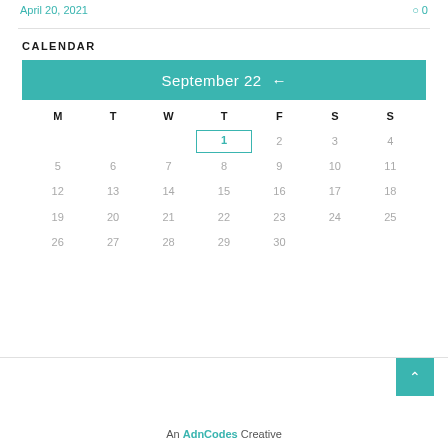April 20, 2021    ◯ 0
CALENDAR
[Figure (other): Calendar widget showing September 22. Teal header with 'September 22' and a left arrow. Days of week M T W T F S S. Dates 1-30 displayed in a grid. Date 1 is highlighted with a teal border. Remaining dates shown in light gray.]
An AdnCodes Creative